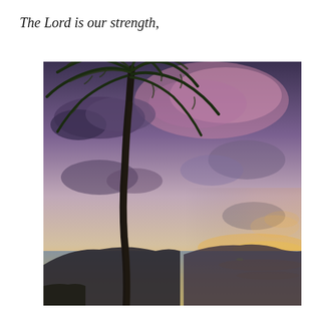The Lord is our strength,
[Figure (photo): A tropical beach sunset scene with a tall palm tree silhouette in the foreground left, a colorful sky with purple, pink, and orange hues, scattered clouds, dark mountain silhouette in the background, and calm ocean water in the lower portion.]